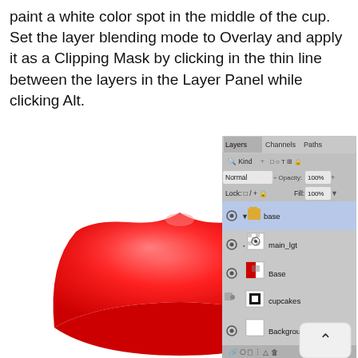paint a white color spot in the middle of the cup. Set the layer blending mode to Overlay and apply it as a Clipping Mask by clicking in the thin line between the layers in the Layer Panel while clicking Alt.
[Figure (screenshot): A red cupcake cup illustration on the left side, and a Photoshop Layers panel on the right showing layers: base (selected, blue highlight), main_lgt (with clipping mask icon), Base (with red thumbnail), cupcakes (with black square thumbnail), and Background (white thumbnail).]